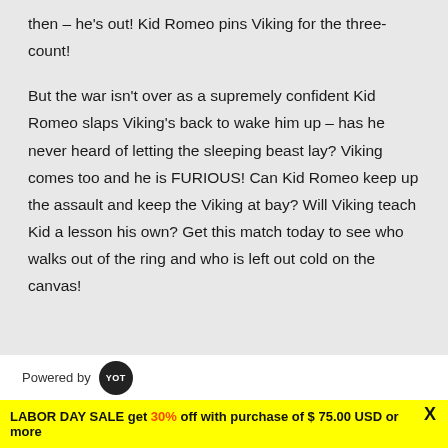then – he's out!  Kid Romeo pins Viking for the three-count!
But the war isn't over as a supremely confident Kid Romeo slaps Viking's back to wake him up – has he never heard of letting the sleeping beast lay? Viking comes too and he is FURIOUS!  Can Kid Romeo keep up the assault and keep the Viking at bay?  Will Viking teach Kid a lesson his own?  Get this match today to see who walks out of the ring and who is left out cold on the canvas!
Powered by YOT
LABOR DAY SALE get 30% off with purchase of $75.00 USD or more